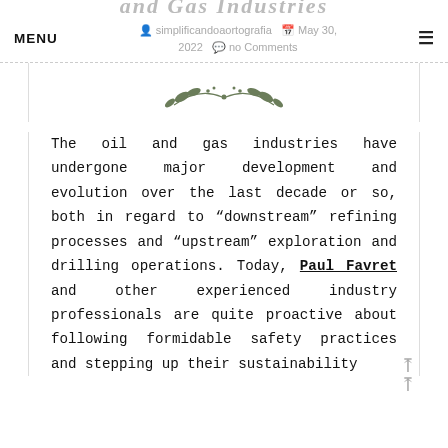and Gas Industries
simplificandoaortografia  May 30, 2022  no Comments
[Figure (illustration): Decorative floral/leaf ornament divider]
The oil and gas industries have undergone major development and evolution over the last decade or so, both in regard to “downstream” refining processes and “upstream” exploration and drilling operations. Today, Paul Favret and other experienced industry professionals are quite proactive about following formidable safety practices and stepping up their sustainability